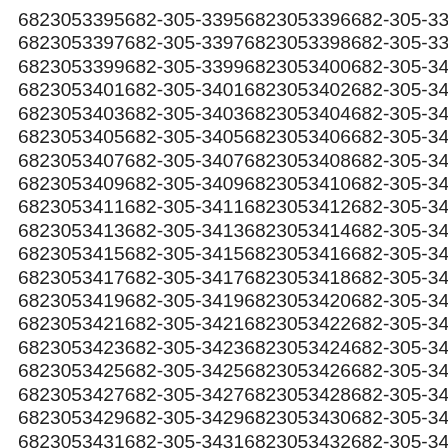6823053395 682-305-3395 6823053396 682-305-3396
6823053397 682-305-3397 6823053398 682-305-3398
6823053399 682-305-3399 6823053400 682-305-3400
6823053401 682-305-3401 6823053402 682-305-3402
6823053403 682-305-3403 6823053404 682-305-3404
6823053405 682-305-3405 6823053406 682-305-3406
6823053407 682-305-3407 6823053408 682-305-3408
6823053409 682-305-3409 6823053410 682-305-3410
6823053411 682-305-3411 6823053412 682-305-3412
6823053413 682-305-3413 6823053414 682-305-3414
6823053415 682-305-3415 6823053416 682-305-3416
6823053417 682-305-3417 6823053418 682-305-3418
6823053419 682-305-3419 6823053420 682-305-3420
6823053421 682-305-3421 6823053422 682-305-3422
6823053423 682-305-3423 6823053424 682-305-3424
6823053425 682-305-3425 6823053426 682-305-3426
6823053427 682-305-3427 6823053428 682-305-3428
6823053429 682-305-3429 6823053430 682-305-3430
6823053431 682-305-3431 6823053432 682-305-3432